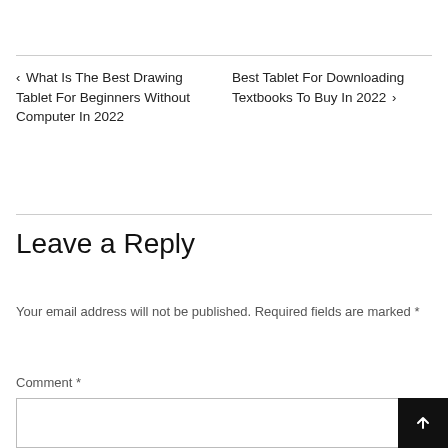‹ What Is The Best Drawing Tablet For Beginners Without Computer In 2022
Best Tablet For Downloading Textbooks To Buy In 2022 ›
Leave a Reply
Your email address will not be published. Required fields are marked *
Comment *